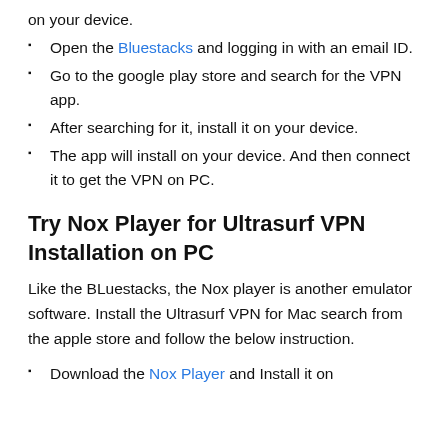on your device.
Open the Bluestacks and logging in with an email ID.
Go to the google play store and search for the VPN app.
After searching for it, install it on your device.
The app will install on your device. And then connect it to get the VPN on PC.
Try Nox Player for Ultrasurf VPN Installation on PC
Like the BLuestacks, the Nox player is another emulator software. Install the Ultrasurf VPN for Mac search from the apple store and follow the below instruction.
Download the Nox Player and Install it on